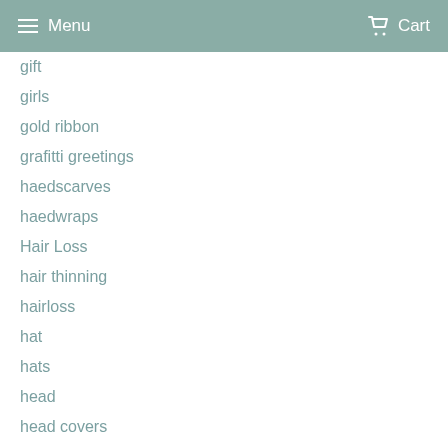Menu  Cart
gift
girls
gold ribbon
grafitti greetings
haedscarves
haedwraps
Hair Loss
hair thinning
hairloss
hat
hats
head
head covers
head scarf
head…